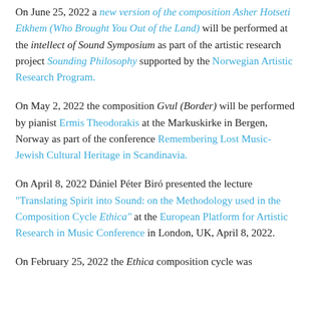On June 25, 2022 a new version of the composition Asher Hotseti Etkhem (Who Brought You Out of the Land) will be performed at the intellect of Sound Symposium as part of the artistic research project Sounding Philosophy supported by the Norwegian Artistic Research Program.
On May 2, 2022 the composition Gvul (Border) will be performed by pianist Ermis Theodorakis at the Markuskirke in Bergen, Norway as part of the conference Remembering Lost Music- Jewish Cultural Heritage in Scandinavia.
On April 8, 2022 Dániel Péter Biró presented the lecture "Translating Spirit into Sound: on the Methodology used in the Composition Cycle Ethica" at the European Platform for Artistic Research in Music Conference in London, UK, April 8, 2022.
On February 25, 2022 the Ethica composition cycle was...